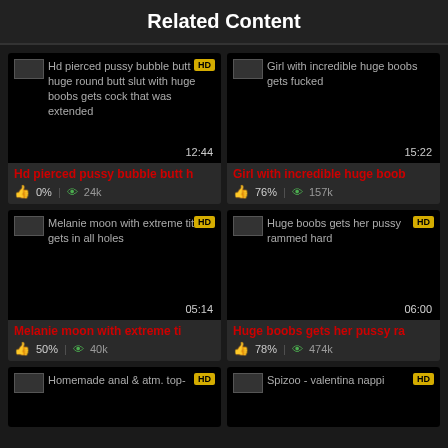Related Content
[Figure (screenshot): Video thumbnail - Hd pierced pussy bubble butt huge round butt slut with huge boobs gets cock that was extended, duration 12:44, HD badge]
Hd pierced pussy bubble butt h
0% | 24k views
[Figure (screenshot): Video thumbnail - Girl with incredible huge boobs gets fucked, duration 15:22]
Girl with incredible huge boob
76% | 157k views
[Figure (screenshot): Video thumbnail - Melanie moon with extreme tits gets in all holes, duration 05:14, HD badge]
Melanie moon with extreme ti
50% | 40k views
[Figure (screenshot): Video thumbnail - Huge boobs gets her pussy rammed hard, duration 06:00, HD badge]
Huge boobs gets her pussy ra
78% | 474k views
[Figure (screenshot): Video thumbnail - Homemade anal & atm. top-, HD badge]
[Figure (screenshot): Video thumbnail - Spizoo - valentina nappi, HD badge]